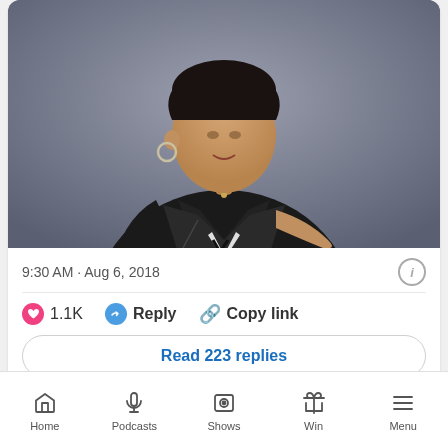[Figure (photo): Photo of a woman wearing a black leather jacket over a graphic tee, posed against a grey background. Hoop earring visible, gold necklace.]
9:30 AM · Aug 6, 2018
❤ 1.1K   Reply   Copy link
Read 223 replies
LIVE Nights with Estelle
AVICII - THE NIGHTS
Home   Podcasts   Shows   Win   Menu